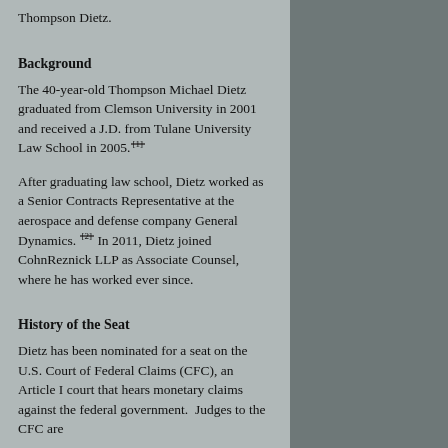Thompson Dietz.
Background
The 40-year-old Thompson Michael Dietz graduated from Clemson University in 2001 and received a J.D. from Tulane University Law School in 2005.[1]
After graduating law school, Dietz worked as a Senior Contracts Representative at the aerospace and defense company General Dynamics.[2] In 2011, Dietz joined CohnReznick LLP as Associate Counsel, where he has worked ever since.
History of the Seat
Dietz has been nominated for a seat on the U.S. Court of Federal Claims (CFC), an Article I court that hears monetary claims against the federal government. Judges to the CFC are